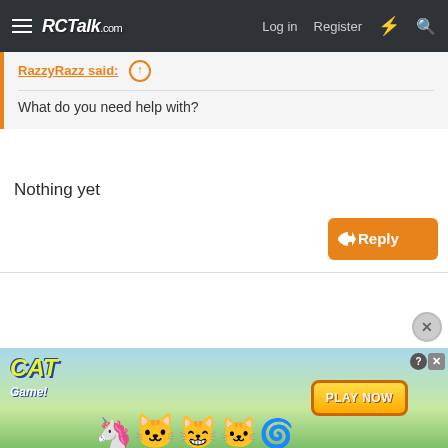RCTalk.com — Log in  Register
RazzyRazz said: ↑
What do you need help with?
Nothing yet
[Figure (screenshot): Orange Reply button with reply arrow icon]
[Figure (screenshot): Cat Game advertisement banner with cartoon cat characters and Play Now button]